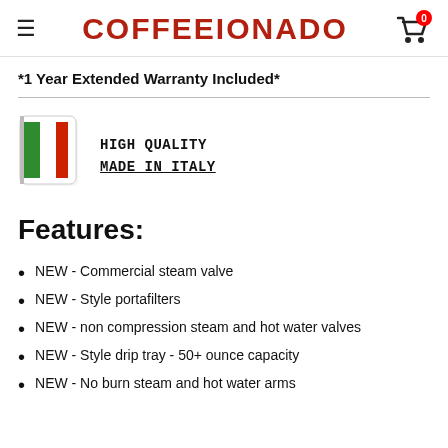COFFEEIONADO
*1 Year Extended Warranty Included*
[Figure (illustration): Italian flag icon with 'HIGH QUALITY MADE IN ITALY' text label]
Features:
NEW - Commercial steam valve
NEW - Style portafilters
NEW - non compression steam and hot water valves
NEW - Style drip tray - 50+ ounce capacity
NEW - No burn steam and hot water arms